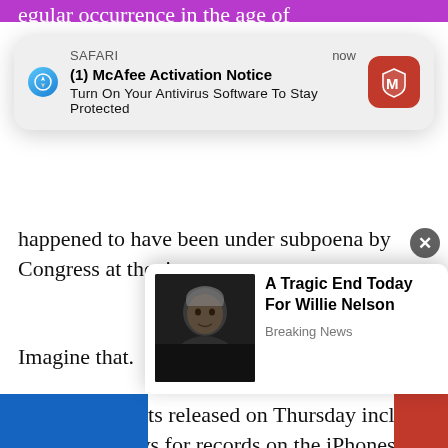egular occurrence in the age of
(1) McAfee Activation Notice
Turn On Your Antivirus Software To Stay Protected
happened to have been under subpoena by Congress at the time.
Imagine that.
“The documents released on Thursday include a log of reviews for records on the iPhones used by the special counsel employees. The log shows 33 instances in which employees wiped their phones. At least two of the ph
[Figure (screenshot): McAfee Activation Notice Safari browser notification popup with McAfee red icon]
[Figure (photo): Willie Nelson elderly man in dark clothing, Breaking News popup: A Tragic End Today For Willie Nelson]